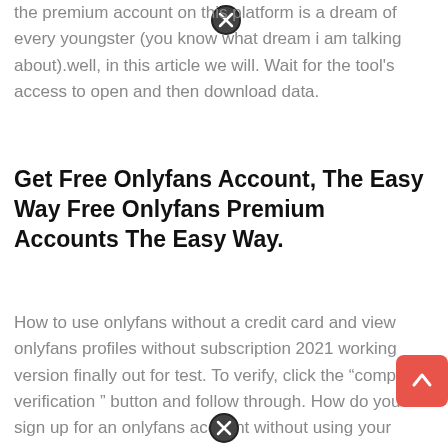the premium account on this platform is a dream of every youngster (you know what dream i am talking about).well, in this article we will. Wait for the tool's access to open and then download data.
Get Free Onlyfans Account, The Easy Way Free Onlyfans Premium Accounts The Easy Way.
How to use onlyfans without a credit card and view onlyfans profiles without subscription 2021 working version finally out for test. To verify, click the “complete verification ” button and follow through. How do you sign up for an onlyfans account without using your credit card?
How To Get Onlyfans Account Without Credit Card From Okl.splunkyard.com.